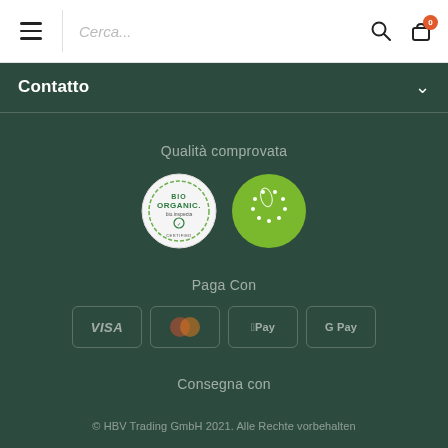[Figure (screenshot): Website navigation bar with hamburger menu, search field placeholder 'Cerca...', search icon, and cart icon with orange badge showing 0]
Contatto
Qualità comprovata
[Figure (logo): Two certification badges: Bio Organic bio.inspecta certified logo (circular, white background, green text) and EU organic leaf logo (green circle with white leaf/stars design)]
Paga Con
[Figure (infographic): Payment method icons: VISA, Mastercard (orange/red circles), Apple Pay, Google Pay — shown as rounded rectangle badges with muted styling]
Consegna con
© HBV Trading GmbH 2021. Alle Rechte vorbehalten